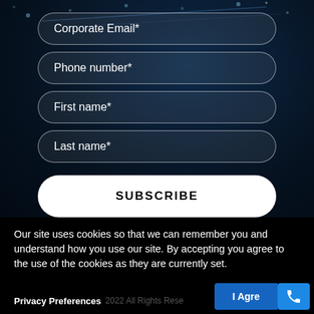[Figure (screenshot): Dark blue tech background with glowing dots and diagonal light streaks]
Corporate Email*
Phone number*
First name*
Last name*
SUBSCRIBE
Our site uses cookies so that we can remember you and understand how you use our site. By accepting you agree to the use of the cookies as they are currently set.
Privacy Preferences
2022 All Rights Reserved | Terms of Use | Privacy Policy | Security & Compliance |
I Agree